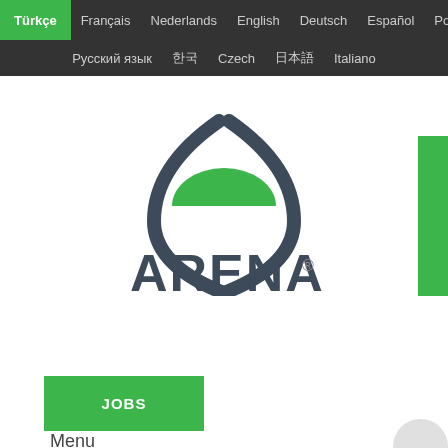Türkçe  Français  Nederlands  English  Deutsch  Español  Polski  Русский язык  한국어  Czech  日本語  Italiano
[Figure (logo): Arena logo: dark gray parentheses with green semicircle on top, text ARENA with registered trademark symbol]
JOBS
Menu